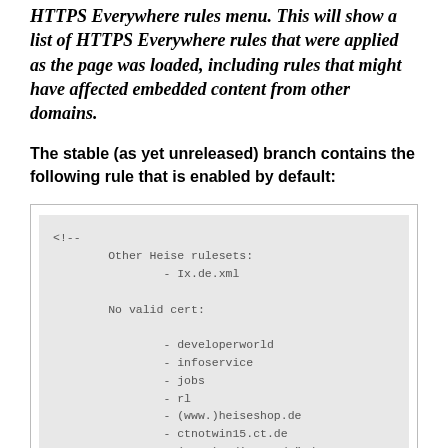HTTPS Everywhere rules menu. This will show a list of HTTPS Everywhere rules that were applied as the page was loaded, including rules that might have affected embedded content from other domains.
The stable (as yet unreleased) branch contains the following rule that is enabled by default:
[Figure (screenshot): Code block showing XML comment with Other Heise rulesets: - Ix.de.xml, No valid cert: - developerworld - infoservice - jobs - rl - (www.)heiseshop.de - ctnotwin15.ct.de - (www.)radio.ct.de" />]